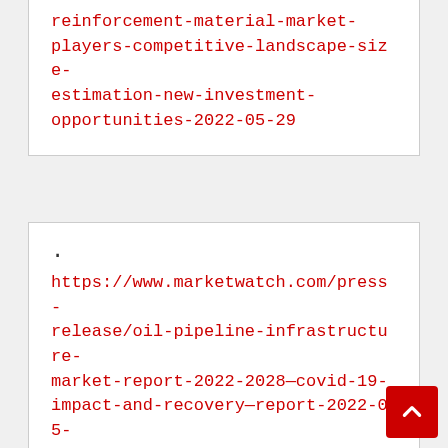reinforcement-material-market-players-competitive-landscape-size-estimation-new-investment-opportunities-2022-05-29
. https://www.marketwatch.com/press-release/oil-pipeline-infrastructure-market-report-2022-2028—covid-19-impact-and-recovery—report-2022-05-29
. https://www.marketwatch.com/press-release/trending-now-covid-19-impact-on-homopolymer-acrylic-filter-bag-market-growth-segments-revenue-manufacturers-forecast-research-